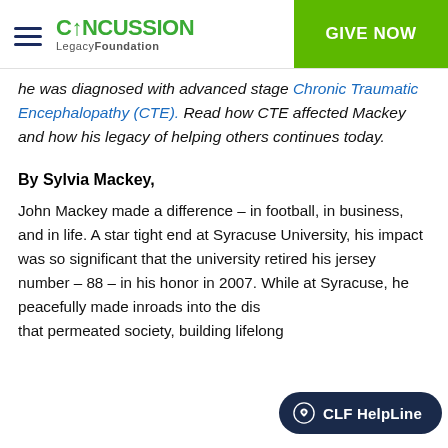CONCUSSION LegacyFoundation | GIVE NOW
he was diagnosed with advanced stage Chronic Traumatic Encephalopathy (CTE). Read how CTE affected Mackey and how his legacy of helping others continues today.
By Sylvia Mackey,
John Mackey made a difference – in football, in business, and in life. A star tight end at Syracuse University, his impact was so significant that the university retired his jersey number – 88 – in his honor in 2007. While at Syracuse, he peacefully made inroads into the dis... that permeated society, building lifelong